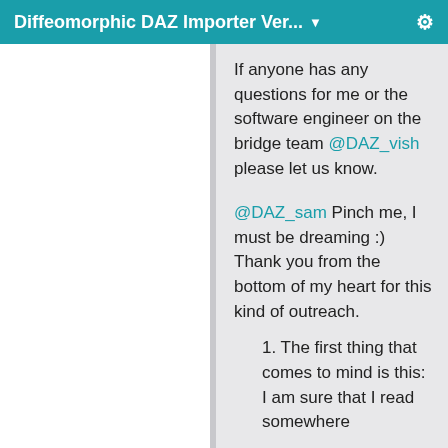Diffeomorphic DAZ Importer Ver... ▼
If anyone has any questions for me or the software engineer on the bridge team @DAZ_vish please let us know.
@DAZ_sam Pinch me, I must be dreaming :) Thank you from the bottom of my heart for this kind of outreach.
1. The first thing that comes to mind is this: I am sure that I read somewhere